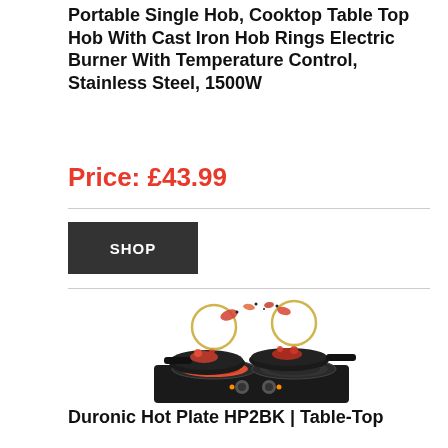Portable Single Hob, Cooktop Table Top Hob With Cast Iron Hob Rings Electric Burner With Temperature Control, Stainless Steel, 1500W
Price: £43.99
SHOP
[Figure (photo): Product photo of a black dual hot plate electric cooktop with two pans containing seafood/shrimp dishes, with decorative food splash imagery above]
Duronic Hot Plate HP2BK | Table-Top